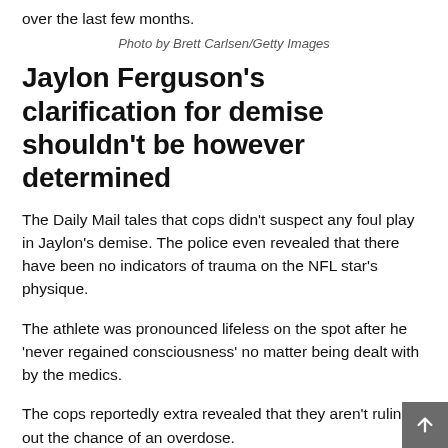over the last few months.
Photo by Brett Carlsen/Getty Images
Jaylon Ferguson's clarification for demise shouldn't be however determined
The Daily Mail tales that cops didn't suspect any foul play in Jaylon's demise. The police even revealed that there have been no indicators of trauma on the NFL star's physique.
The athlete was pronounced lifeless on the spot after he 'never regained consciousness' no matter being dealt with by the medics.
The cops reportedly extra revealed that they aren't ruling out the chance of an overdose.